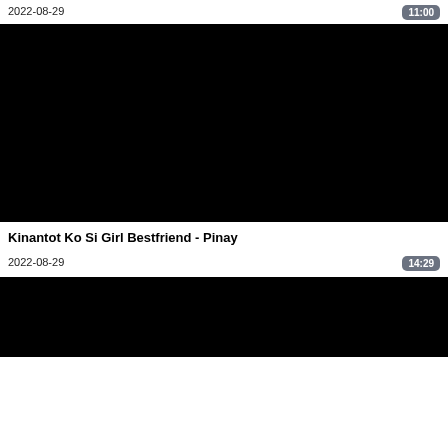2022-08-29
11:00
[Figure (photo): Black video thumbnail placeholder]
Kinantot Ko Si Girl Bestfriend - Pinay
2022-08-29
14:29
[Figure (photo): Black video thumbnail placeholder (second)]